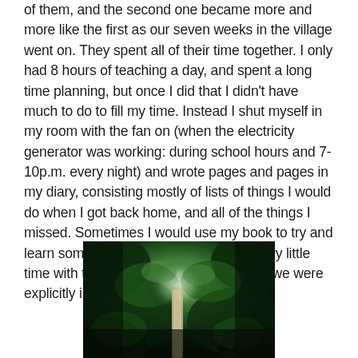of them, and the second one became more and more like the first as our seven weeks in the village went on. They spent all of their time together. I only had 8 hours of teaching a day, and spent a long time planning, but once I did that I didn't have much to do to fill my time. Instead I shut myself in my room with the fan on (when the electricity generator was working: during school hours and 7-10p.m. every night) and wrote pages and pages in my diary, consisting mostly of lists of things I would do when I got back home, and all of the things I missed. Sometimes I would use my book to try and learn some Bahasa Malay, but I spent very little time with the people in the village unless we were explicitly invited to their houses.
[Figure (photo): A photo taken looking upward through dense tropical green foliage and tree canopy, with a pale vertical trunk or stem visible in the center and light filtering through gaps in the leaves.]